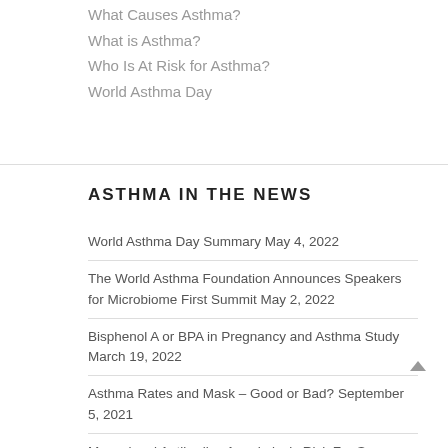What Causes Asthma?
What is Asthma?
Who Is At Risk for Asthma?
World Asthma Day
ASTHMA IN THE NEWS
World Asthma Day Summary May 4, 2022
The World Asthma Foundation Announces Speakers for Microbiome First Summit May 2, 2022
Bisphenol A or BPA in Pregnancy and Asthma Study March 19, 2022
Asthma Rates and Mask – Good or Bad? September 5, 2021
Monoclonal Antibodies Anaphylaxis Risk For Severe Asthma Patients July 22, 2021